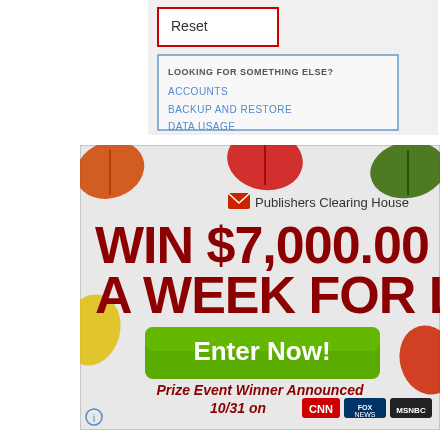[Figure (screenshot): Android settings screenshot showing a Reset button highlighted in red, and a list showing 'LOOKING FOR SOMETHING ELSE?' with options ACCOUNTS, BACKUP AND RESTORE, DATA USAGE]
[Figure (screenshot): Publishers Clearing House advertisement: WIN $7,000.00 A WEEK FOR LIFE! Enter Now! Prize Event Winner Announced 10/31 on CNN, Fox News, MSNBC. Autumn leaf decorations surround the ad.]